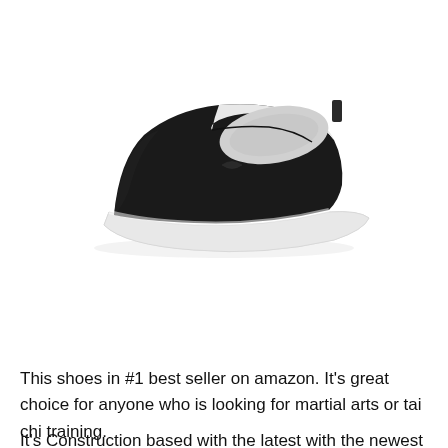[Figure (photo): A black slip-on canvas shoe with white rubber sole and white interior lining, photographed on white background at an angle.]
view on amazon
This shoes in #1 best seller on amazon. It's great choice for anyone who is looking for martial arts or tai chi training.
It's Construction based with the latest with the newest...